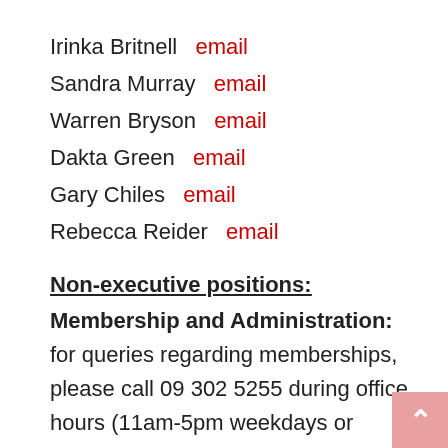Irinka Britnell  email
Sandra Murray  email
Warren Bryson  email
Dakta Green  email
Gary Chiles  email
Rebecca Reider  email
Non-executive positions:
Membership and Administration: for queries regarding memberships, please call 09 302 5255 during office hours (11am-5pm weekdays or 11am-4pm weekends) or outside these hours leave a message with your name, address and brief message. NORML has no paid staff and your queries are attended to by the experienced staff at The